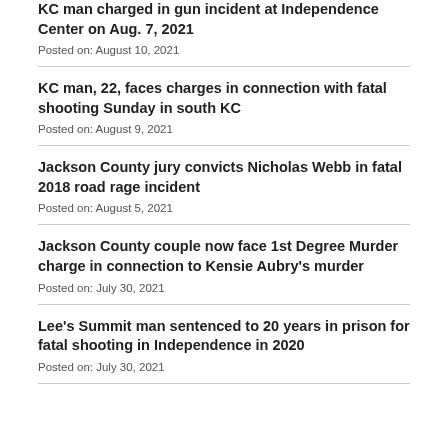KC man charged in gun incident at Independence Center on Aug. 7, 2021
Posted on: August 10, 2021
KC man, 22, faces charges in connection with fatal shooting Sunday in south KC
Posted on: August 9, 2021
Jackson County jury convicts Nicholas Webb in fatal 2018 road rage incident
Posted on: August 5, 2021
Jackson County couple now face 1st Degree Murder charge in connection to Kensie Aubry's murder
Posted on: July 30, 2021
Lee's Summit man sentenced to 20 years in prison for fatal shooting in Independence in 2020
Posted on: July 30, 2021